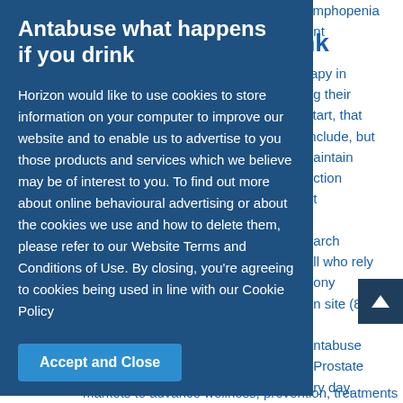Antabuse what happens if you drink
ymphopenia ent rapy in ng their start, that include, but naintain uction et earch all who rely nony on site (84. antabuse . Prostate ery day, nd emerging markets to advance wellness, prevention, treatments
Horizon would like to use cookies to store information on your computer to improve our website and to enable us to advertise to you those products and services which we believe may be of interest to you. To find out more about online behavioural advertising or about the cookies we use and how to delete them, please refer to our Website Terms and Conditions of Use. By closing, you’re agreeing to cookies being used in line with our Cookie Policy
Accept and Close